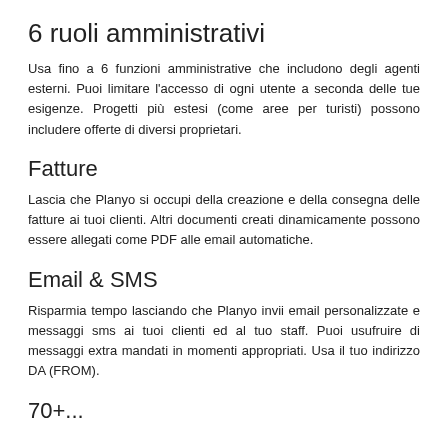6 ruoli amministrativi
Usa fino a 6 funzioni amministrative che includono degli agenti esterni. Puoi limitare l'accesso di ogni utente a seconda delle tue esigenze. Progetti più estesi (come aree per turisti) possono includere offerte di diversi proprietari.
Fatture
Lascia che Planyo si occupi della creazione e della consegna delle fatture ai tuoi clienti. Altri documenti creati dinamicamente possono essere allegati come PDF alle email automatiche.
Email & SMS
Risparmia tempo lasciando che Planyo invii email personalizzate e messaggi sms ai tuoi clienti ed al tuo staff. Puoi usufruire di messaggi extra mandati in momenti appropriati. Usa il tuo indirizzo DA (FROM).
70+...